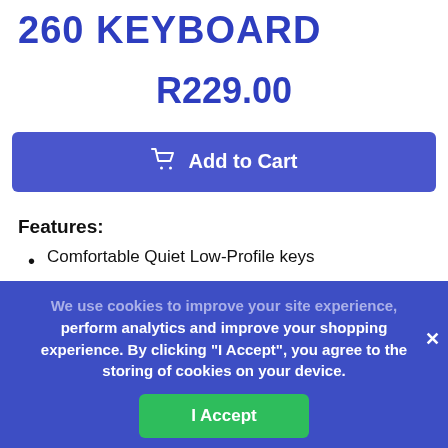260 KEYBOARD
R229.00
Add to Cart
Features:
Comfortable Quiet Low-Profile keys
Unique Hexagon Style
Stylish Dual Color and Durability
12 Multimedia Keys
Extended Kickstand
We use cookies to improve your site experience, perform analytics and improve your shopping experience. By clicking “I Accept”, you agree to the storing of cookies on your device.
I Accept